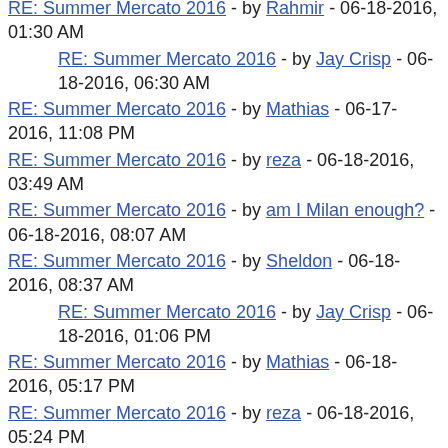RE: Summer Mercato 2016 - by Rahmir - 06-18-2016, 01:30 AM
RE: Summer Mercato 2016 - by Jay Crisp - 06-18-2016, 06:30 AM
RE: Summer Mercato 2016 - by Mathias - 06-17-2016, 11:08 PM
RE: Summer Mercato 2016 - by reza - 06-18-2016, 03:49 AM
RE: Summer Mercato 2016 - by am I Milan enough? - 06-18-2016, 08:07 AM
RE: Summer Mercato 2016 - by Sheldon - 06-18-2016, 08:37 AM
RE: Summer Mercato 2016 - by Jay Crisp - 06-18-2016, 01:06 PM
RE: Summer Mercato 2016 - by Mathias - 06-18-2016, 05:17 PM
RE: Summer Mercato 2016 - by reza - 06-18-2016, 05:24 PM
RE: Summer Mercato 2016 - by ACMILAN1983 - 06-18-2016, 07:33 PM
RE: Summer Mercato 2016 - by am I Milan enough? - 06-18-2016, 07:35 PM
RE: Summer Mercato 2016 - by reza - 06-18-2016, 07:42 PM
RE: Summer Mercato 2016 - by ACMILAN1983 - 06-18-2016, 08:34 PM
RE: Summer Mercato 2016 - by ACMILAN1983 - 06-19-2016, 10:48 AM
RE: Summer Mercato 2016 - by nefremo - 06-19-2016, 11:58